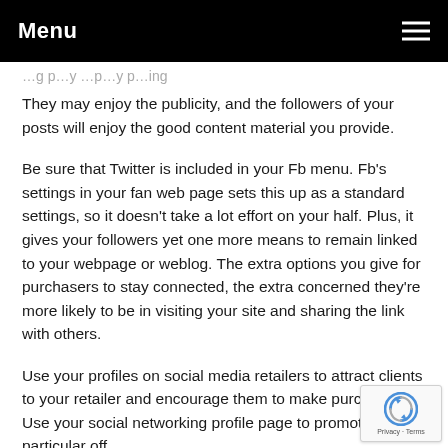Menu
…ing p…y …p…y p…ing They may enjoy the publicity, and the followers of your posts will enjoy the good content material you provide.
Be sure that Twitter is included in your Fb menu. Fb's settings in your fan web page sets this up as a standard settings, so it doesn't take a lot effort on your half. Plus, it gives your followers yet one more means to remain linked to your webpage or weblog. The extra options you give for purchasers to stay connected, the extra concerned they're more likely to be in visiting your site and sharing the link with others.
Use your profiles on social media retailers to attract clients to your retailer and encourage them to make purchases. Use your social networking profile page to promote particular off…